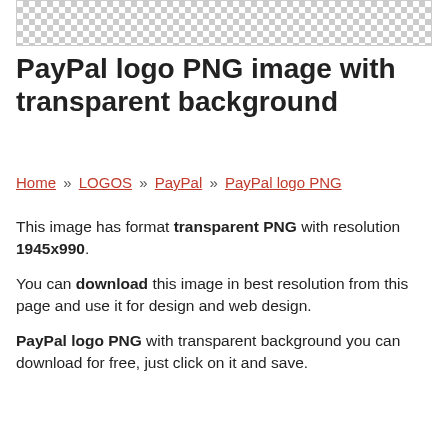[Figure (other): Checkerboard transparent background pattern preview image]
PayPal logo PNG image with transparent background
Home » LOGOS » PayPal » PayPal logo PNG
This image has format transparent PNG with resolution 1945x990. You can download this image in best resolution from this page and use it for design and web design.

PayPal logo PNG with transparent background you can download for free, just click on it and save.